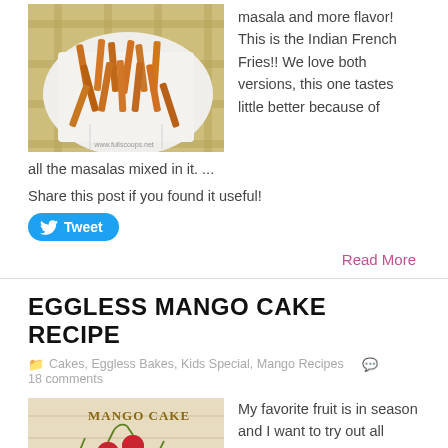[Figure (photo): Photo of Indian French Fries (spiced fries) on a white plate with a checkered cloth background, with website watermark www.fullscoops.net]
masala and more flavor! This is the Indian French Fries!! We love both versions, this one tastes little better because of all the masalas mixed in it. ...
Share this post if you found it useful!
Tweet
Read More
EGGLESS MANGO CAKE RECIPE
Cakes, Eggless Bakes, Kids Special, Mango Recipes  18 comments
[Figure (photo): Photo of Mango Cake with cherries on a light wooden surface, with text overlay MANGO CAKE]
My favorite fruit is in season and I want to try out all kinds of desserts and drinks using mangoes! My kids are not